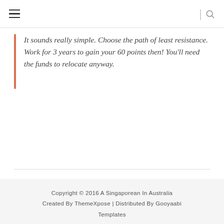≡  | 🔍
It sounds really simple. Choose the path of least resistance. Work for 3 years to gain your 60 points then! You'll need the funds to relocate anyway.
Copyright © 2016 A Singaporean In Australia
Created By ThemeXpose | Distributed By Gooyaabi Templates